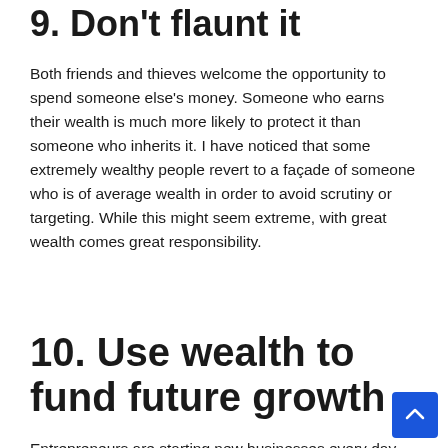9. Don't flaunt it
Both friends and thieves welcome the opportunity to spend someone else's money. Someone who earns their wealth is much more likely to protect it than someone who inherits it. I have noticed that some extremely wealthy people revert to a façade of someone who is of average wealth in order to avoid scrutiny or targeting. While this might seem extreme, with great wealth comes great responsibility.
10. Use wealth to fund future growth
Entrepreneurs are starting new businesses every day across the country, and one of the biggest challenges is the lack of proper funding to build and grow the business. When a family already has wealth, this can be used to fund future entrepreneurial endeavors.